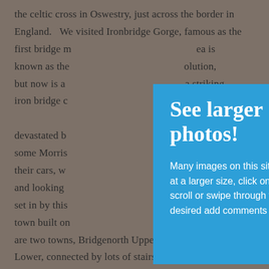the celtic cross in Oswestry, just across the border in England.  We visited Ironbridge Gorge, famous as the first bridge m... ea is known as the ... olution, but now is a ... a striking iron bridge c... devastated b... nance by some Morris... ing for their cars, wi... ed clothes, and looking ... nd truly set in by this ... north, a town built on... lly there are two towns, Bridgenorth Upper and Bridgenorth Lower, connected by lots of stairs, very narrow winding roads, and a very cool tram – next time we'd like to
[Figure (other): Blue overlay popup box with title 'See larger photos!' and explanatory text about viewing gallery images at larger size by clicking on any image in the gallery, then scrolling or swiping through photos, reading captions, and adding comments or questions.]